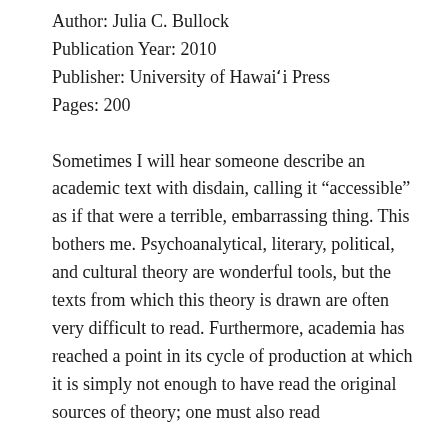Author: Julia C. Bullock
Publication Year: 2010
Publisher: University of Hawai'i Press
Pages: 200
Sometimes I will hear someone describe an academic text with disdain, calling it “accessible” as if that were a terrible, embarrassing thing. This bothers me. Psychoanalytical, literary, political, and cultural theory are wonderful tools, but the texts from which this theory is drawn are often very difficult to read. Furthermore, academia has reached a point in its cycle of production at which it is simply not enough to have read the original sources of theory; one must also read